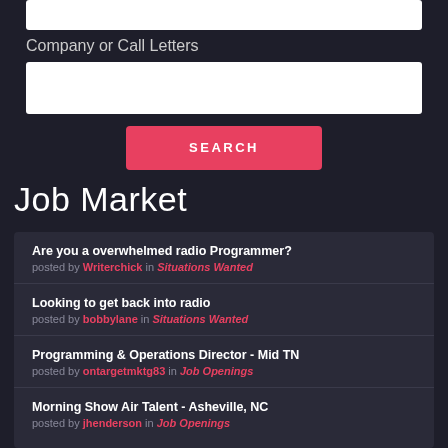[Figure (screenshot): White input text box at the top of the page (partially visible)]
Company or Call Letters
[Figure (screenshot): White input text box for Company or Call Letters field]
SEARCH
Job Market
Are you a overwhelmed radio Programmer? posted by Writerchick in Situations Wanted
Looking to get back into radio posted by bobbylane in Situations Wanted
Programming & Operations Director - Mid TN posted by ontargetmktg83 in Job Openings
Morning Show Air Talent - Asheville, NC posted by jhenderson in Job Openings